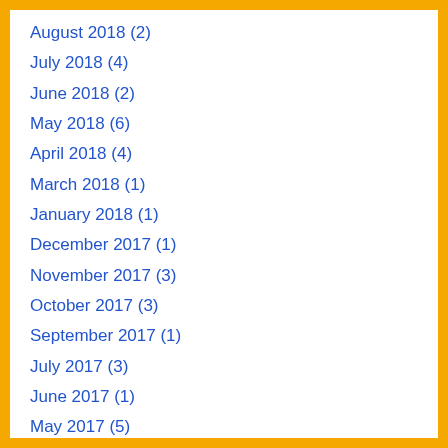August 2018 (2)
July 2018 (4)
June 2018 (2)
May 2018 (6)
April 2018 (4)
March 2018 (1)
January 2018 (1)
December 2017 (1)
November 2017 (3)
October 2017 (3)
September 2017 (1)
July 2017 (3)
June 2017 (1)
May 2017 (5)
April 2017 (1)
March 2017 (1)
February 2017 (3)
January 2017 (1)